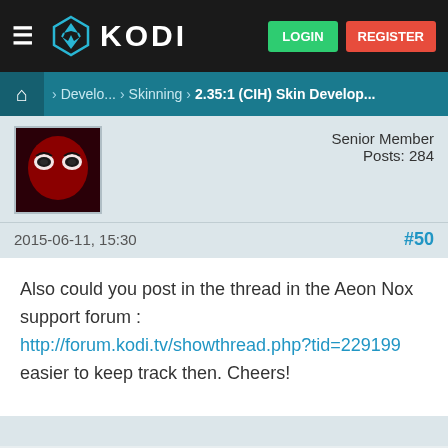KODI — LOGIN   REGISTER
> Develo... > Skinning > 2.35:1 (CIH) Skin Develop...
Senior Member
Posts: 284
2015-06-11, 15:30   #50
Also could you post in the thread in the Aeon Nox support forum : http://forum.kodi.tv/showthread.php?tid=229199 easier to keep track then. Cheers!
Find   Reply
pfp-az